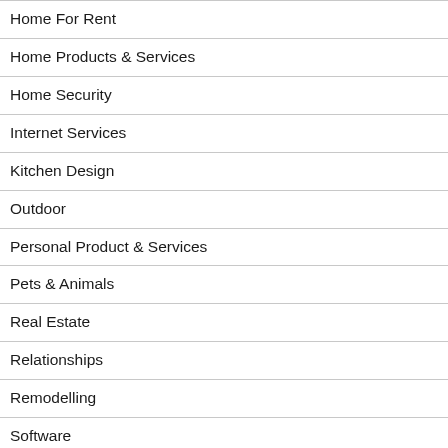Home For Rent
Home Products & Services
Home Security
Internet Services
Kitchen Design
Outdoor
Personal Product & Services
Pets & Animals
Real Estate
Relationships
Remodelling
Software
Sports & Athletics